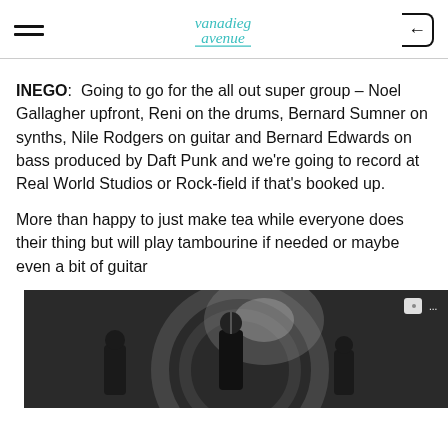vanadium avenue [logo]
INEGO:  Going to go for the all out super group – Noel Gallagher upfront, Reni on the drums, Bernard Sumner on synths, Nile Rodgers on guitar and Bernard Edwards on bass produced by Daft Punk and we're going to record at Real World Studios or Rock-field if that's booked up.
More than happy to just make tea while everyone does their thing but will play tambourine if needed or maybe even a bit of guitar
[Figure (photo): Black and white concert photo showing musicians performing on stage with dramatic lighting and circular decorative backdrop]